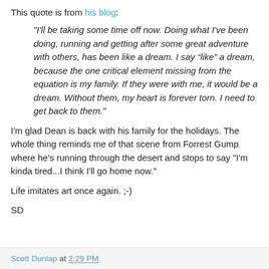This quote is from his blog:
"I'll be taking some time off now. Doing what I've been doing, running and getting after some great adventure with others, has been like a dream. I say “like” a dream, because the one critical element missing from the equation is my family. If they were with me, it would be a dream. Without them, my heart is forever torn. I need to get back to them."
I'm glad Dean is back with his family for the holidays. The whole thing reminds me of that scene from Forrest Gump where he's running through the desert and stops to say "I'm kinda tired...I think I'll go home now."
Life imitates art once again. ;-)
SD
Scott Dunlap at 2:29 PM